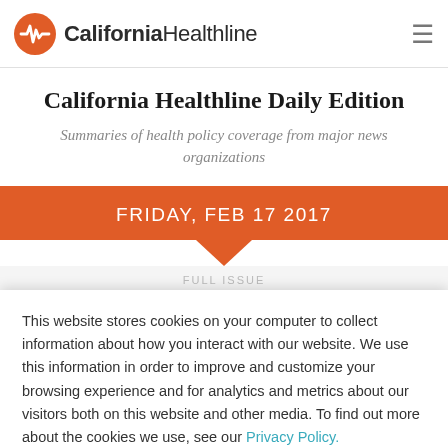California Healthline
California Healthline Daily Edition
Summaries of health policy coverage from major news organizations
FRIDAY, FEB 17 2017
FULL ISSUE
This website stores cookies on your computer to collect information about how you interact with our website. We use this information in order to improve and customize your browsing experience and for analytics and metrics about our visitors both on this website and other media. To find out more about the cookies we use, see our Privacy Policy.
Accept